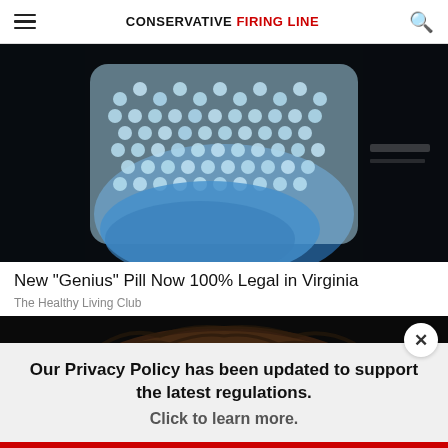CONSERVATIVE FIRING LINE
[Figure (photo): A gloved hand holding a clear plastic bag filled with small blue pills against a dark background]
New "Genius" Pill Now 100% Legal in Virginia
The Healthy Living Club
[Figure (photo): Partial view of a person's head/hair against a dark background]
Our Privacy Policy has been updated to support the latest regulations. Click to learn more.